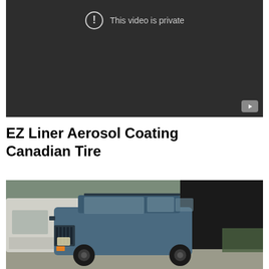[Figure (screenshot): Video player showing 'This video is private' message with exclamation icon on dark background, YouTube logo button in bottom right corner]
EZ Liner Aerosol Coating Canadian Tire
[Figure (photo): Photo of a blue Jeep Cherokee SUV parked outside near a garage, with a white truck visible on the left side]